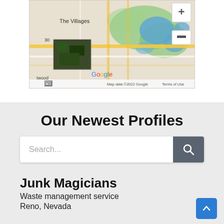[Figure (map): Google Maps screenshot showing The Villages area with roads, water bodies, and satellite imagery thumbnail. Map data ©2022 Google. Shows zoom controls (+/-) and Terms of Use link.]
Our Newest Profiles
Search...
Junk Magicians
Waste management service
Reno, Nevada